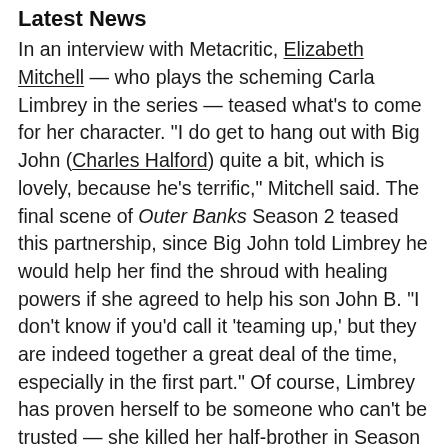Latest News
In an interview with Metacritic, Elizabeth Mitchell — who plays the scheming Carla Limbrey in the series — teased what's to come for her character. "I do get to hang out with Big John (Charles Halford) quite a bit, which is lovely, because he's terrific," Mitchell said. The final scene of Outer Banks Season 2 teased this partnership, since Big John told Limbrey he would help her find the shroud with healing powers if she agreed to help his son John B. "I don't know if you'd call it 'teaming up,' but they are indeed together a great deal of the time, especially in the first part." Of course, Limbrey has proven herself to be someone who can't be trusted — she killed her half-brother in Season 2. "I don't know that Limbrey is really a team